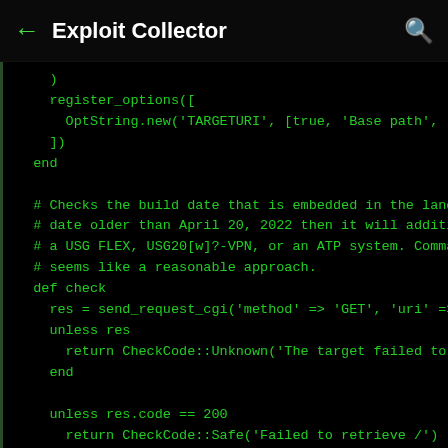← Exploit Collector 🔍
)
    register_options([
      OptString.new('TARGETURI', [true, 'Base path', '/
    ])
  end

  # Checks the build date that is embedded in the landi
  # date older than April 20, 2022 then it will additio
  # a USG FLEX, USG20[w]?-VPN, or an ATP system. Comman
  # seems like a reasonable approach.
  def check
    res = send_request_cgi('method' => 'GET', 'uri' =>
    unless res
      return CheckCode::Unknown('The target failed to r
    end

    unless res.code == 200
      return CheckCode::Safe('Failed to retrieve /')
    end

    ver = res.body[/favicon\.ico\?v=(?<build_date>[0-9]
    if ver.nil?
      return CheckCode::Safe('Could not extract a versi
    end

    if ver[0..5].to_i < 220420
      model = res.get_html_document.xpath(//title).te